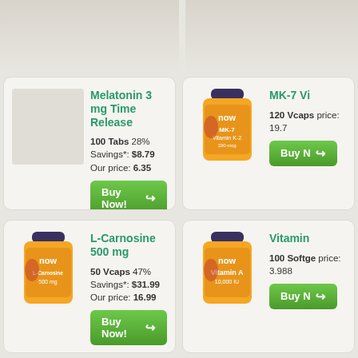[Figure (screenshot): Top banner left - gradient gray area]
[Figure (screenshot): Top banner right - gradient gray area]
Melatonin 3 mg Time Release
100 Tabs 28% Savings*: $8.79 Our price: 6.35
[Figure (photo): Product image placeholder for Melatonin 3 mg Time Release]
[Figure (photo): Buy Now button for Melatonin]
MK-7 Vi
120 Vcaps price: 19.7
[Figure (photo): NOW MK-7 Vitamin K-2 supplement bottle]
[Figure (photo): Buy Now button for MK-7]
L-Carnosine 500 mg
50 Vcaps 47% Savings*: $31.99 Our price: 16.99
[Figure (photo): NOW L-Carnosine 500 mg supplement bottle (partially visible)]
[Figure (photo): Buy Now button for L-Carnosine]
Vitamin A
100 Softge price: 3.988
[Figure (photo): NOW Vitamin A supplement bottle]
[Figure (photo): Buy Now button for Vitamin A]